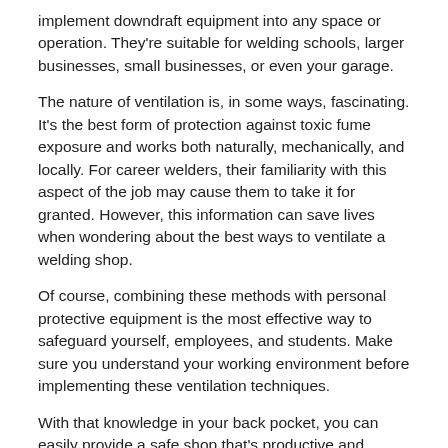implement downdraft equipment into any space or operation. They're suitable for welding schools, larger businesses, small businesses, or even your garage.
The nature of ventilation is, in some ways, fascinating. It's the best form of protection against toxic fume exposure and works both naturally, mechanically, and locally. For career welders, their familiarity with this aspect of the job may cause them to take it for granted. However, this information can save lives when wondering about the best ways to ventilate a welding shop.
Of course, combining these methods with personal protective equipment is the most effective way to safeguard yourself, employees, and students. Make sure you understand your working environment before implementing these ventilation techniques.
With that knowledge in your back pocket, you can easily provide a safe shop that's productive and efficient. Consider FumeDog's impressive selection of quality fume extraction devices for all your welding workshop needs.\